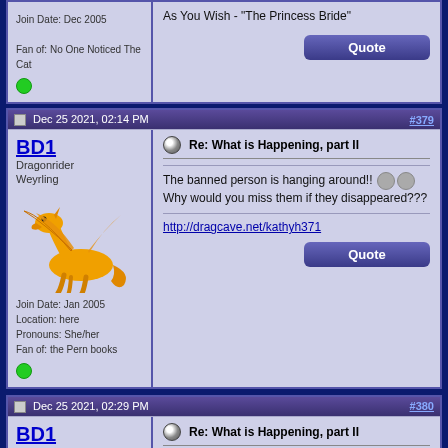Join Date: Dec 2005
Fan of: No One Noticed The Cat
As You Wish - "The Princess Bride"
Dec 25 2021, 02:14 PM  #379
BD1
Dragonrider
Weyrling
Join Date: Jan 2005
Location: here
Pronouns: She/her
Fan of: the Pern books
Re: What is Happening, part II
The banned person is hanging around!! Why would you miss them if they disappeared???
http://dragcave.net/kathyh371
Dec 25 2021, 02:29 PM  #380
BD1
Dragonrider
Weyrling
Re: What is Happening, part II
This is the second time I've had to wear a bag during Christmas